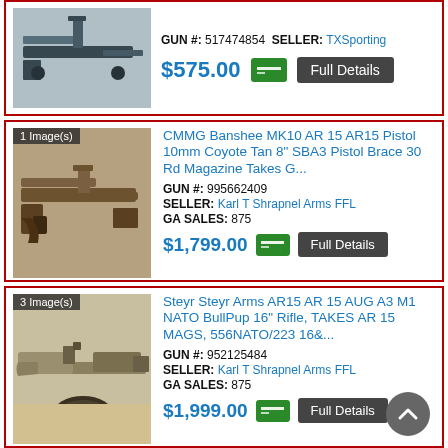[Figure (photo): AR-style rifle photo, top listing]
GUN #: 517474854  SELLER: TXSporting
$575.00  Full Details
[Figure (photo): CMMG Banshee MK10 AR pistol in Coyote Tan, 1 image]
CMMG Banshee MK10 AR 15 AR15 Pistol 10mm Coyote Tan 8" SBA3 Pistol Brace 30 Rd Magazine Takes G...
GUN #: 995662409
SELLER: Karl T Shrapnel Arms FFL
GA SALES: 875
$1,799.00  Full Details
[Figure (photo): Steyr Arms AR15 AUG A3 M1 rifle, 3 images]
Steyr Steyr Arms AR15 AR 15 AUG A3 M1 NATO BullPup 16" Rifle, TAKES AR 15 MAGS, 556NATO/223 16&...
GUN #: 952125484
SELLER: Karl T Shrapnel Arms FFL
GA SALES: 875
$1,999.00  Full Details